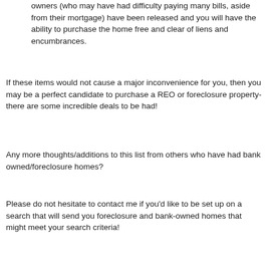owners (who may have had difficulty paying many bills, aside from their mortgage) have been released and you will have the ability to purchase the home free and clear of liens and encumbrances.
If these items would not cause a major inconvenience for you, then you may be a perfect candidate to purchase a REO or foreclosure property- there are some incredible deals to be had!
Any more thoughts/additions to this list from others who have had bank owned/foreclosure homes?
Please do not hesitate to contact me if you'd like to be set up on a search that will send you foreclosure and bank-owned homes that might meet your search criteria!